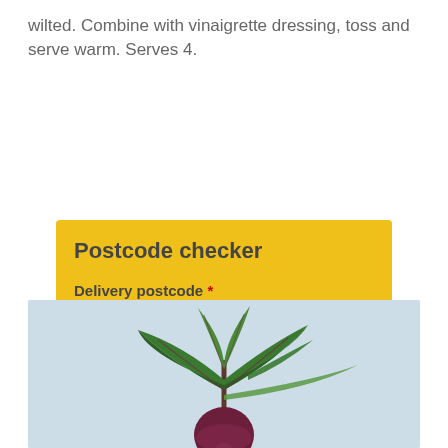wilted. Combine with vinaigrette dressing, toss and serve warm. Serves 4.
Postcode checker
Delivery postcode *
Please enter your postcode to see if we deliver to you.
Check postcode
[Figure (photo): A beetroot plant with green and purple-red leaves and a round purple-red root, photographed against a light blue-grey background.]